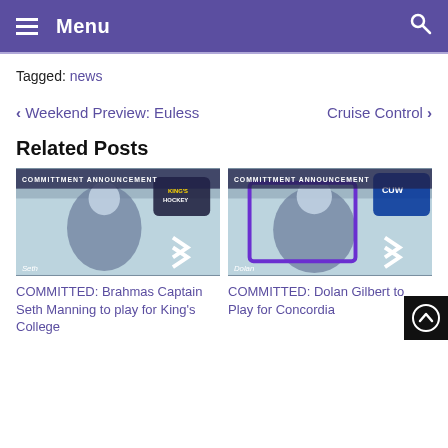Menu
Tagged: news
< Weekend Preview: Euless    Cruise Control >
Related Posts
[Figure (photo): Commitment announcement card for Seth Manning, hockey player, King's Hockey logo visible]
COMMITTED: Brahmas Captain Seth Manning to play for King's College
[Figure (photo): Commitment announcement card for Dolan Gilbert, goalie, CUW logo visible]
COMMITTED: Dolan Gilbert to Play for Concordia